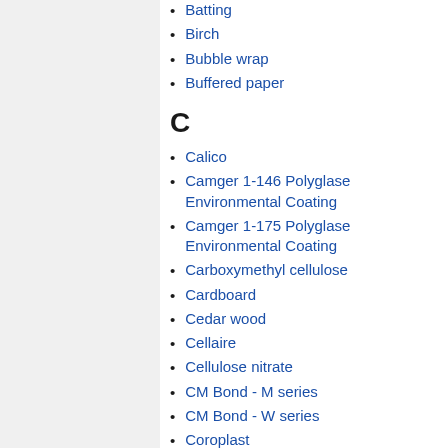Batting
Birch
Bubble wrap
Buffered paper
C
Calico
Camger 1-146 Polyglase Environmental Coating
Camger 1-175 Polyglase Environmental Coating
Carboxymethyl cellulose
Cardboard
Cedar wood
Cellaire
Cellulose nitrate
CM Bond - M series
CM Bond - W series
Coroplast
Corrugated board